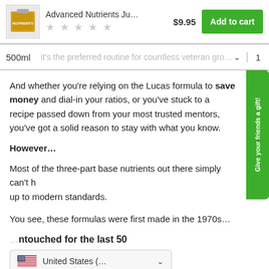[Figure (screenshot): E-commerce product listing for Advanced Nutrients showing product image, star rating, price $9.95, and Add to cart button]
[Figure (screenshot): Dropdown selector showing 500ml option with quantity 1, overlaid with partially visible text about preferred routine for veteran growers]
And whether you're relying on the Lucas formula to save money and dial-in your ratios, or you've stuck to a recipe passed down from your most trusted mentors, you've got a solid reason to stay with what you know.
However...
Most of the three-part base nutrients out there simply can't hold up to modern standards.
You see, these formulas were first made in the 1970s...
ntouched for the last 50
[Figure (screenshot): Country selector showing US flag and United States with dropdown arrow]